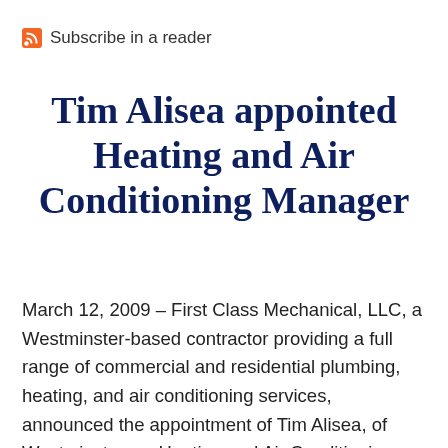Subscribe in a reader
Tim Alisea appointed Heating and Air Conditioning Manager
March 12, 2009 – First Class Mechanical, LLC, a Westminster-based contractor providing a full range of commercial and residential plumbing, heating, and air conditioning services, announced the appointment of Tim Alisea, of Westminster, as Heating and Air Conditioning Manager. Alisea has more than 15 years experience in heating, ventilation, and air